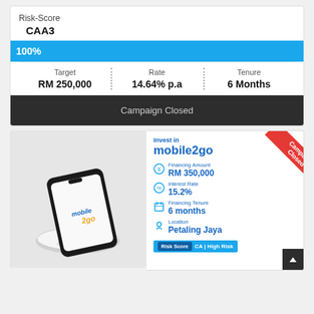Risk-Score
CAA3
100%
| Target | Rate | Tenure |
| --- | --- | --- |
| RM 250,000 | 14.64% p.a | 6 Months |
Campaign Closed
[Figure (photo): Mobile phone displaying the mobile2go logo on its screen, placed on a white circular wireless charger against a light grey background]
Invest in mobile2go
Financing Amount: RM 350,000
Interest Rate: 15.2%
Financing Tenure: 6 months
Location: Petaling Jaya
Risk Score: CA | High Risk